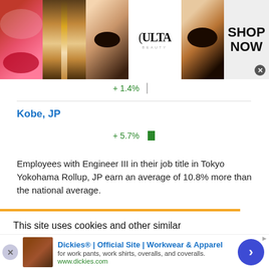[Figure (screenshot): Ulta Beauty advertisement banner at top of page with makeup/cosmetics images and 'SHOP NOW' call to action]
+ 1.4%
Kobe, JP
+ 5.7%
Employees with Engineer III in their job title in Tokyo Yokohama Rollup, JP earn an average of 10.8% more than the national average.
This site uses cookies and other similar technologies to provide site functionality, analyze traffic and usage, and
[Figure (screenshot): Dickies advertisement banner at bottom: 'Dickies® | Official Site | Workwear & Apparel' with product image and navigation arrow]